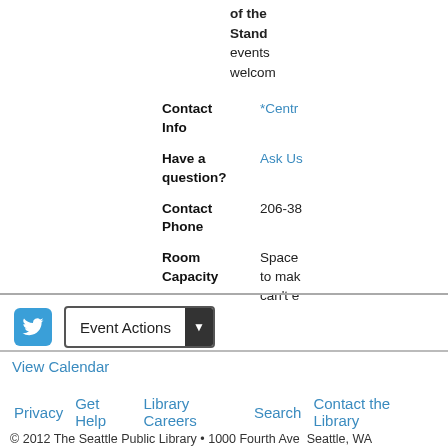of the Stand events welcome
| Field | Value |
| --- | --- |
| Contact Info | *Centr |
| Have a question? | Ask Us |
| Contact Phone | 206-38 |
| Room Capacity | Space to make can't e |
Event Actions
View Calendar
Privacy  Get Help  Library Careers  Search  Contact the Library
© 2012 The Seattle Public Library • 1000 Fourth Ave  Seattle, WA